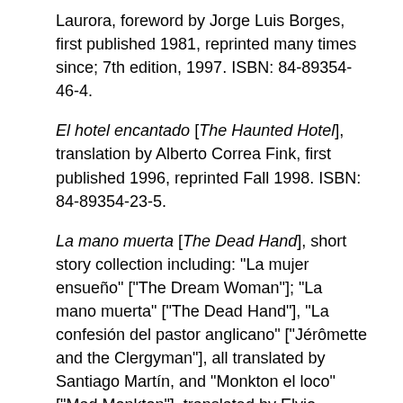Laurora, foreword by Jorge Luis Borges, first published 1981, reprinted many times since; 7th edition, 1997. ISBN: 84-89354-46-4.
El hotel encantado [The Haunted Hotel], translation by Alberto Correa Fink, first published 1996, reprinted Fall 1998. ISBN: 84-89354-23-5.
La mano muerta [The Dead Hand], short story collection including: "La mujer ensueño" ["The Dream Woman"]; "La mano muerta" ["The Dead Hand"], "La confesión del pastor anglicano" ["Jérômette and the Clergyman"], all translated by Santiago Martín, and "Monkton el loco" ["Mad Monkton"], translated by Elvio Gandolfo. First published in this edition April, 1998. ISBN: 84-89354-56-1.
Doble engaño [The New Magdalen], translation by Aurora González Bird, first published October, 1998. ISBN: 84-89354-51-0.